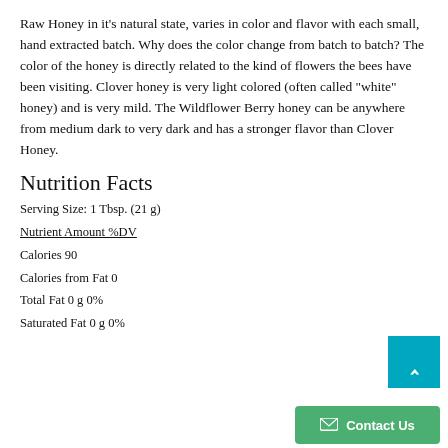Raw Honey in it's natural state, varies in color and flavor with each small, hand extracted batch. Why does the color change from batch to batch? The color of the honey is directly related to the kind of flowers the bees have been visiting. Clover honey is very light colored (often called “white” honey) and is very mild. The Wildflower Berry honey can be anywhere from medium dark to very dark and has a stronger flavor than Clover Honey.
Nutrition Facts
Serving Size: 1 Tbsp. (21 g)
Nutrient Amount %DV
Calories 90
Calories from Fat 0
Total Fat 0 g 0%
Saturated Fat 0 g 0%